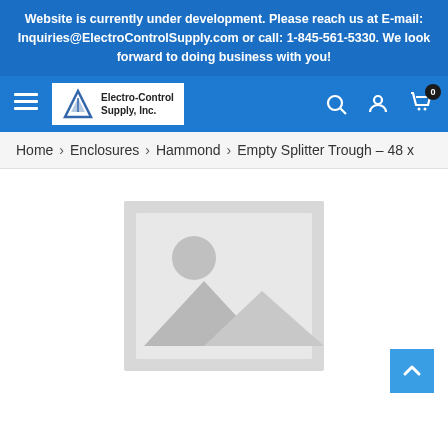Website is currently under development. Please reach us at E-mail: Inquiries@ElectroControlSupply.com or call: 1-845-561-5330. We look forward to doing business with you!
[Figure (logo): Electro-Control Supply, Inc. logo with triangle icon]
Home > Enclosures > Hammond > Empty Splitter Trough – 48 x
[Figure (photo): Product image placeholder with landscape/mountain icon]